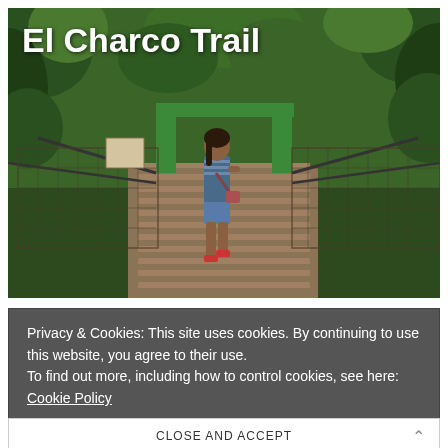[Figure (photo): Photo of a woman walking on a wooden suspension bridge through a lush tropical jungle/forest. The bridge has green metal frame and rope/chain netting on the sides. The title 'El Charco Trail' is overlaid in white bold text on the upper left of the image.]
Privacy & Cookies: This site uses cookies. By continuing to use this website, you agree to their use.
To find out more, including how to control cookies, see here:
Cookie Policy
CLOSE AND ACCEPT